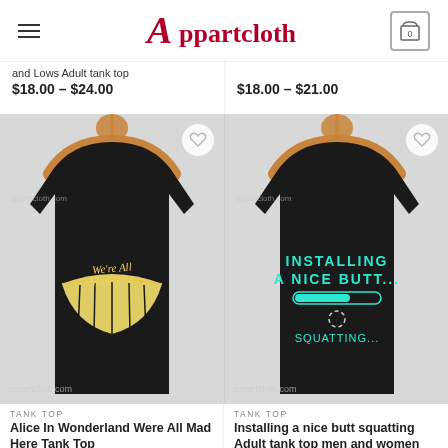Appartcloth
and Lows Adult tank top $18.00 – $24.00
$18.00 – $21.00
[Figure (photo): Black tank top on wooden hanger with Cheshire cat grin and 'We're All Mad Here' text, watermarked appartcloth.com]
[Figure (photo): Black tank top on wooden hanger with 'Installing A Nice Butt... Squatting...' text in teal, watermarked appartcloth.com]
TANK TOP
Alice In Wonderland Were All Mad Here Tank Top
TANK TOP
Installing a nice butt squatting Adult tank top men and women